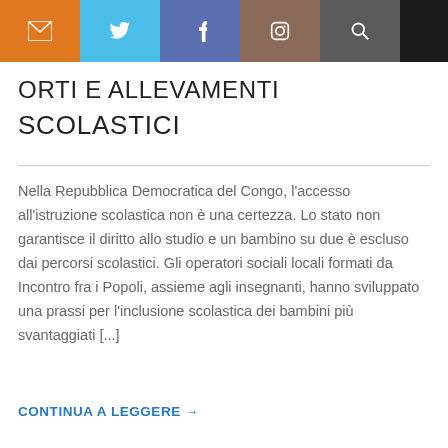Navigation bar with icons: mail, twitter, facebook, instagram, search
ORTI E ALLEVAMENTI SCOLASTICI
Nella Repubblica Democratica del Congo, l'accesso all'istruzione scolastica non è una certezza. Lo stato non garantisce il diritto allo studio e un bambino su due è escluso dai percorsi scolastici. Gli operatori sociali locali formati da Incontro fra i Popoli, assieme agli insegnanti, hanno sviluppato una prassi per l'inclusione scolastica dei bambini più svantaggiati [...]
CONTINUA A LEGGERE →